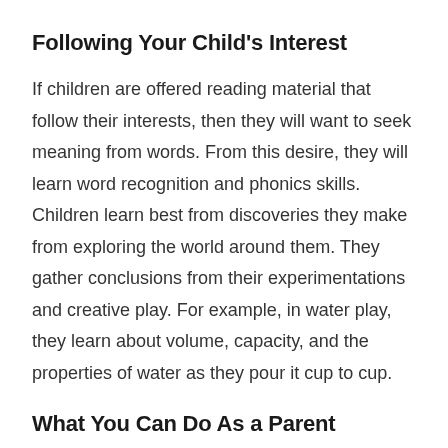Following Your Child's Interest
If children are offered reading material that follow their interests, then they will want to seek meaning from words. From this desire, they will learn word recognition and phonics skills. Children learn best from discoveries they make from exploring the world around them. They gather conclusions from their experimentations and creative play. For example, in water play, they learn about volume, capacity, and the properties of water as they pour it cup to cup.
What You Can Do As a Parent